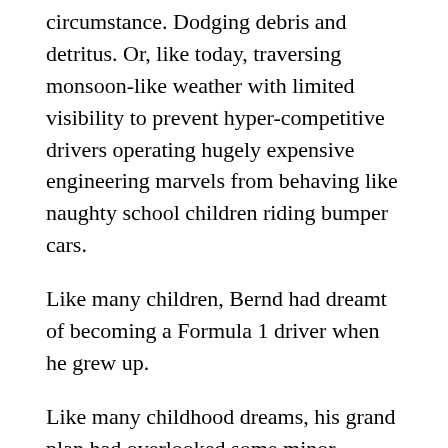circumstance. Dodging debris and detritus. Or, like today, traversing monsoon-like weather with limited visibility to prevent hyper-competitive drivers operating hugely expensive engineering marvels from behaving like naughty school children riding bumper cars.
Like many children, Bernd had dreamt of becoming a Formula 1 driver when he grew up.
Like many childhood dreams, his grand plan had overlooked some minor technical details.
First, Bernd wasn’t rich. This meant that unlike many Formula 1 drivers, he couldn’t purchase a seat on the grid with vast sums of sponsorship money.
Second, Bernd wasn’t fast. He was competent. Better than average. But he lacked that innate something that